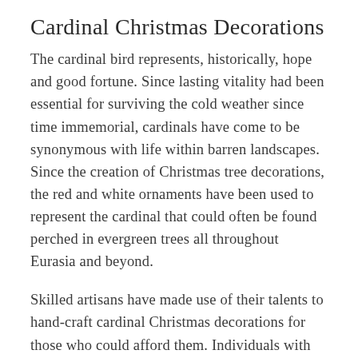Cardinal Christmas Decorations
The cardinal bird represents, historically, hope and good fortune. Since lasting vitality had been essential for surviving the cold weather since time immemorial, cardinals have come to be synonymous with life within barren landscapes. Since the creation of Christmas tree decorations, the red and white ornaments have been used to represent the cardinal that could often be found perched in evergreen trees all throughout Eurasia and beyond.
Skilled artisans have made use of their talents to hand-craft cardinal Christmas decorations for those who could afford them. Individuals with free time on their hands would spend evenings whittling away at little wooden cardinals to ornament their